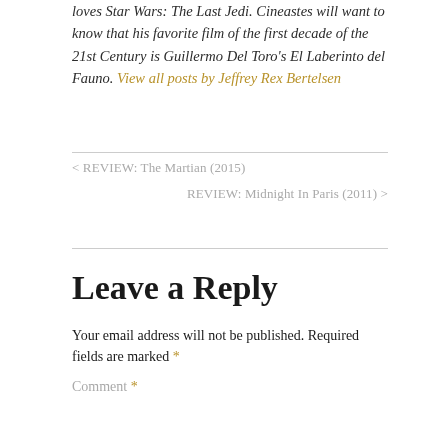loves Star Wars: The Last Jedi. Cineastes will want to know that his favorite film of the first decade of the 21st Century is Guillermo Del Toro's El Laberinto del Fauno. View all posts by Jeffrey Rex Bertelsen
< REVIEW: The Martian (2015)
REVIEW: Midnight In Paris (2011) >
Leave a Reply
Your email address will not be published. Required fields are marked *
Comment *